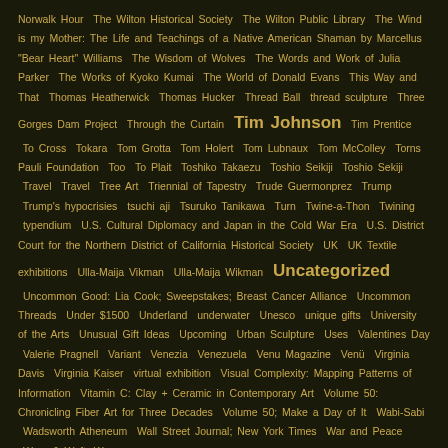Norwalk Hour The Wilton Historical Society The Wilton Public Library The Wind is my Mother: The Life and Teachings of a Native American Shaman by Marcellus "Bear Heart" Williams The Wisdom of Wolves The Words and Work of Julia Parker The Works of Kyoko Kumai The World of Donald Evans This Way and That Thomas Heatherwick Thomas Hucker Thread Ball thread sculpture Three Gorges Dam Project Through the Curtain Tim Johnson Tim Prentice To Cross Tokara Tom Grotta Tom Holert Tom Lubnaux Tom McColley Torns Pauli Foundation Too To Plait Toshiko Takaezu Toshio Seikiji Toshio Sekiji Travel Travel Tree Art Triennial of Tapestry Trude Guermonprez Trump Trump's hypocrisies tsuchi aji Tsuruko Tanikawa Turn Twine-a-Thon Twining typendium U.S. Cultural Diplomacy and Japan in the Cold War Era U.S. District Court for the Northern District of California Historical Society UK UK Textile exhibitions Ulla-Maija Vikman Ulla-Maija Wikman Uncategorized Uncommon Good: Lia Cook; Sweepstakes; Breast Cancer Alliance Uncommon Threads Under $1500 Underland underwater Unesco unique gifts University of the Arts Unusual Gift Ideas Upcoming Urban Sculpture Uses Valentines Day Valerie Pragnell Variant Venezia Venezuela Venu Magazine Venü Virginia Davis Virginia Kaiser virtual exhibition Visual Complexity: Mapping Patterns of Information Vitamin C: Clay + Ceramic in Contemporary Art Volume 50: Chronicling Fiber Art for Three Decades Volume 50; Make a Day of It Wabi-Sabi Wadsworth Atheneum Wall Street Journal; New York Times War and Peace Warp & Weft: Woven